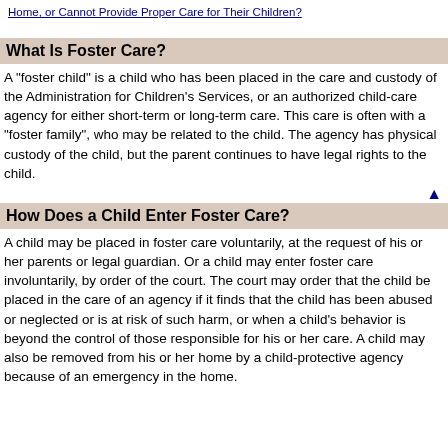Home, or Cannot Provide Proper Care for Their Children?
What Is Foster Care?
A "foster child" is a child who has been placed in the care and custody of the Administration for Children's Services, or an authorized child-care agency for either short-term or long-term care. This care is often with a "foster family", who may be related to the child. The agency has physical custody of the child, but the parent continues to have legal rights to the child.
How Does a Child Enter Foster Care?
A child may be placed in foster care voluntarily, at the request of his or her parents or legal guardian. Or a child may enter foster care involuntarily, by order of the court. The court may order that the child be placed in the care of an agency if it finds that the child has been abused or neglected or is at risk of such harm, or when a child's behavior is beyond the control of those responsible for his or her care. A child may also be removed from his or her home by a child-protective agency because of an emergency in the home.